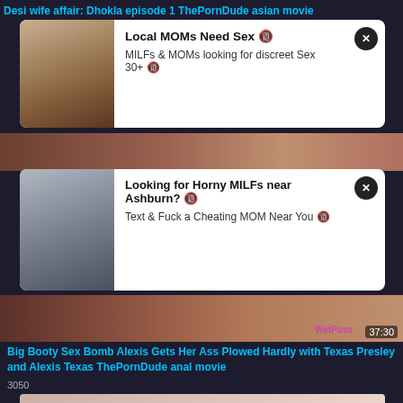Desi wife affair: Dhokla episode 1 ThePornDude asian movie
[Figure (screenshot): Ad card 1: Local MOMs Need Sex - MILFs & MOMs looking for discreet Sex 30+]
[Figure (screenshot): Dark video thumbnail strip between ads]
[Figure (screenshot): Ad card 2: Looking for Horny MILFs near Ashburn? - Text & Fuck a Cheating MOM Near You]
[Figure (screenshot): Dark video thumbnail with WetPuss watermark and 37:30 timestamp]
Big Booty Sex Bomb Alexis Gets Her Ass Plowed Hardly with Texas Presley and Alexis Texas ThePornDude anal movie
3050
[Figure (screenshot): Partial bottom video thumbnail]